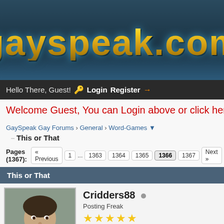[Figure (logo): GaySpeak.com website logo with gold gradient text on dark blue background]
Hello There, Guest! 🔑 Login  Register →
Welcome Guest, You can Login above or click here to re
GaySpeak Gay Forums › General › Word-Games ▼
This or That
Pages (1367): « Previous  1 ... 1363  1364  1365  1366  1367  Next »
This or That
Cridders88
Posting Freak
★★★★★